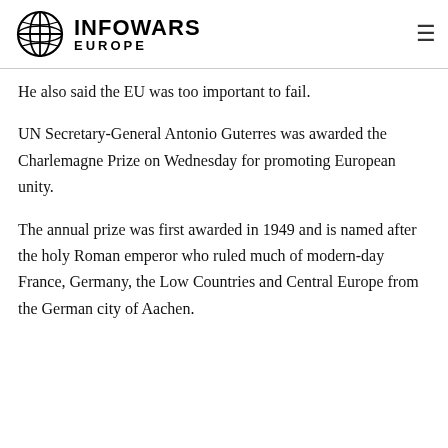INFOWARS EUROPE
He also said the EU was too important to fail.
UN Secretary-General Antonio Guterres was awarded the Charlemagne Prize on Wednesday for promoting European unity.
The annual prize was first awarded in 1949 and is named after the holy Roman emperor who ruled much of modern-day France, Germany, the Low Countries and Central Europe from the German city of Aachen.